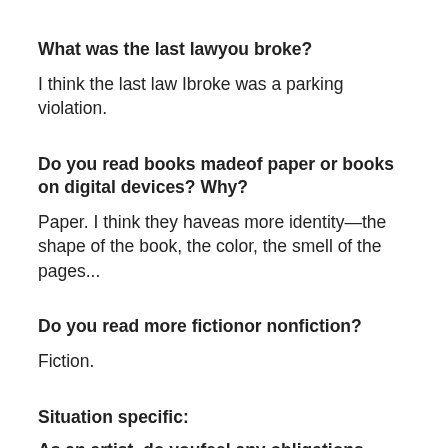What was the last lawyou broke?
I think the last law Ibroke was a parking violation.
Do you read books madeof paper or books on digital devices? Why?
Paper. I think they haveas more identity—the shape of the book, the color, the smell of the pages...
Do you read more fictionor nonfiction?
Fiction.
Situation specific:
As an artist, do youfeel any obligations during this